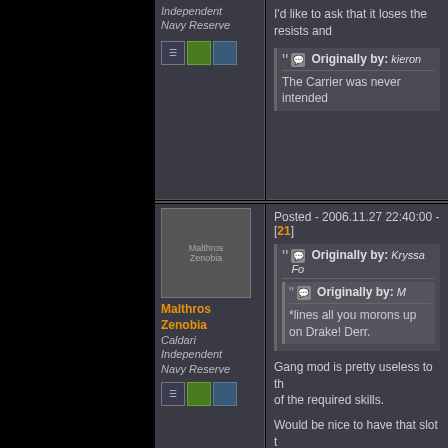Independent Navy Reserve
I'd like to ask that it loses the resists and
Originally by: kieron
The Carrier was never intended
Posted - 2006.11.27 22:40:00 - [21]
Malthros Zenobia
Caldari Independent Navy Reserve
Originally by: Kryssa Fo
Originally by: M
*lines all you morons up and shoots you all on Drake! Derr.
Gang mod is pretty useless to th of the required skills.
Would be nice to have that slot t